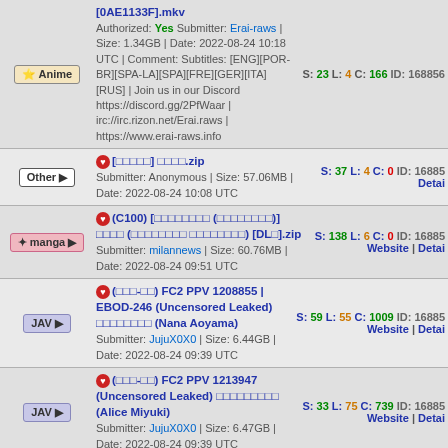[0AE1133F].mkv — Authorized: Yes Submitter: Erai-raws | Size: 1.34GB | Date: 2022-08-24 10:18 UTC | Comment: Subtitles: [ENG][POR-BR][SPA-LA][SPA][FRE][GER][ITA][RUS] | Join us in our Discord https://discord.gg/2PfWaar | irc://irc.rizon.net/Erai.raws | https://www.erai-raws.info — S: 23 L: 4 C: 166 ID: 168856
[□□□□□] □□□□.zip — Submitter: Anonymous | Size: 57.06MB | Date: 2022-08-24 10:08 UTC — S: 37 L: 4 C: 0 ID: 16885
(C100) [□□□□□□□□ (□□□□□□□□)] □□□□ (□□□□□□□□ □□□□□□□□) [DL□].zip — Submitter: milannews | Size: 60.76MB | Date: 2022-08-24 09:51 UTC — S: 138 L: 6 C: 0 ID: 16885
(□□□-□□) FC2 PPV 1208855 | EBOD-246 (Uncensored Leaked) □□□□□□□□ (Nana Aoyama) — Submitter: JujuX0X0 | Size: 6.44GB | Date: 2022-08-24 09:39 UTC — S: 59 L: 55 C: 1009 ID: 16885
(□□□-□□) FC2 PPV 1213947 (Uncensored Leaked) □□□□□□□□□ (Alice Miyuki) — Submitter: JujuX0X0 | Size: 6.47GB | Date: 2022-08-24 09:39 UTC — S: 33 L: 75 C: 739 ID: 16885
(□□□-□□) FC2 PPV ...